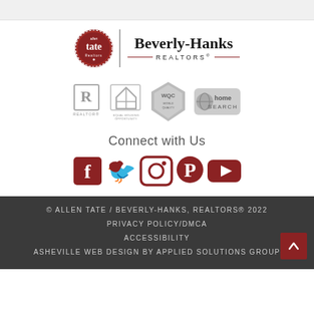[Figure (logo): Allen Tate / Beverly-Hanks REALTORS logo with circular red badge and serif text]
[Figure (logo): Row of certification/affiliation badges: REALTOR, Equal Housing Opportunity, WQC, RELO home search]
Connect with Us
[Figure (infographic): Social media icons: Facebook, Twitter, Instagram, Pinterest, YouTube — all in red]
© ALLEN TATE / BEVERLY-HANKS, REALTORS® 2022
PRIVACY POLICY/DMCA
ACCESSIBILITY
ASHEVILLE WEB DESIGN BY APPLIED SOLUTIONS GROUP